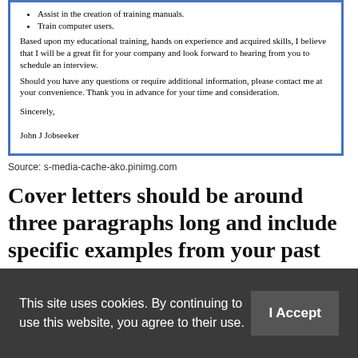[Figure (screenshot): Screenshot of a cover letter document with blue border, showing bullet points and closing paragraphs. Contains bullet items 'Assist in the creation of training manuals.' and 'Train computer users.' followed by closing paragraphs, 'Sincerely,' and 'John J Jobseeker'.]
Source: s-media-cache-ako.pinimg.com
Cover letters should be around three paragraphs long and include specific examples from your past experience that make you qualified for the position.
First job resume sample resume &  cover letter resume...
This site uses cookies. By continuing to use this website, you agree to their use.  I Accept